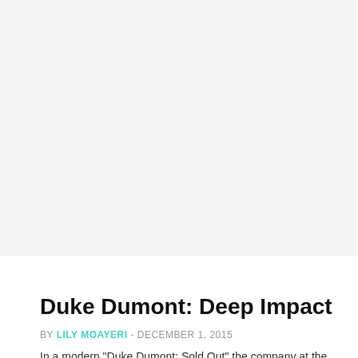[Figure (photo): Large image placeholder at the top of the article page, light gray background]
INTERVIEWS
Duke Dumont: Deep Impact
BY LILY MOAYERI - DECEMBER 1, 2015
In a modern "Duke Dumont: Sold Out" the company at the...